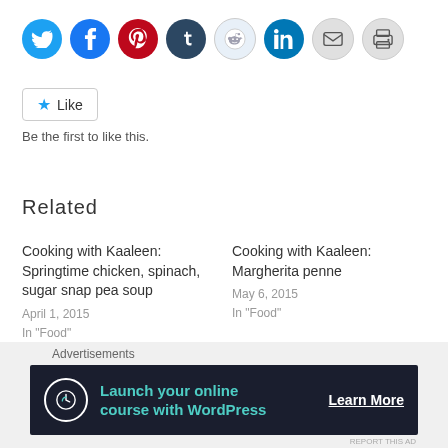[Figure (other): Social sharing icons row: Twitter (blue), Facebook (blue), Pinterest (red), Tumblr (dark blue), Reddit (light blue), LinkedIn (teal), Email (grey), Print (grey)]
[Figure (other): Like button with blue star icon and text 'Like', followed by text 'Be the first to like this.']
Related
Cooking with Kaaleen: Springtime chicken, spinach, sugar snap pea soup
April 1, 2015
In "Food"
Cooking with Kaaleen: Margherita penne
May 6, 2015
In "Food"
Cooking with Kaaleen: Tasty mac 'n
[Figure (other): Advertisement banner: Launch your online course with WordPress - Learn More]
Advertisements